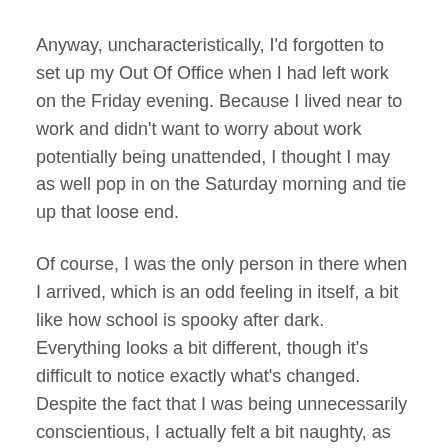Anyway, uncharacteristically, I'd forgotten to set up my Out Of Office when I had left work on the Friday evening. Because I lived near to work and didn't want to worry about work potentially being unattended, I thought I may as well pop in on the Saturday morning and tie up that loose end.
Of course, I was the only person in there when I arrived, which is an odd feeling in itself, a bit like how school is spooky after dark. Everything looks a bit different, though it's difficult to notice exactly what's changed. Despite the fact that I was being unnecessarily conscientious, I actually felt a bit naughty, as though I was trespassing, doing something wrong. I went over to my desk, turned my computer on, and sat back in my chair, looking through the corporate windows at the astonishingly blue sky, and smiled to myself.